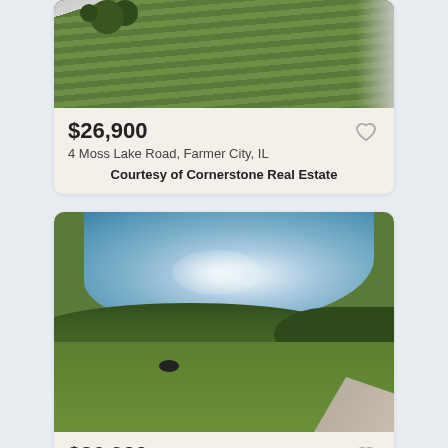[Figure (photo): Aerial view of a green agricultural crop field with diagonal road at right edge and dark tree clusters at top left]
$26,900
4 Moss Lake Road, Farmer City, IL
Courtesy of Cornerstone Real Estate
[Figure (photo): Aerial view of a lake with rippling blue water and light shimmer, surrounded by green grass and dense trees, with a road at the bottom right]
$26,900
11 Moss Lake Road, Farmer City, IL
Courtesy of Cornerstone Real Estate